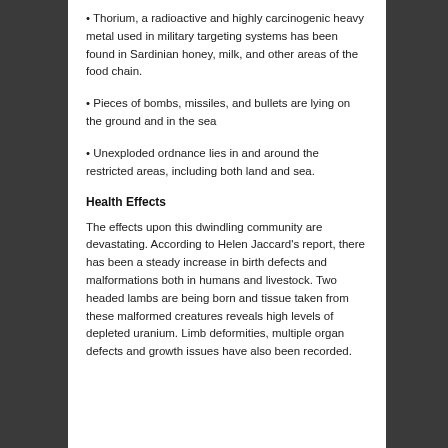• Thorium, a radioactive and highly carcinogenic heavy metal used in military targeting systems has been found in Sardinian honey, milk, and other areas of the food chain.
• Pieces of bombs, missiles, and bullets are lying on the ground and in the sea
• Unexploded ordnance lies in and around the restricted areas, including both land and sea.
Health Effects
The effects upon this dwindling community are devastating. According to Helen Jaccard's report, there has been a steady increase in birth defects and malformations both in humans and livestock. Two headed lambs are being born and tissue taken from these malformed creatures reveals high levels of depleted uranium. Limb deformities, multiple organ defects and growth issues have also been recorded.